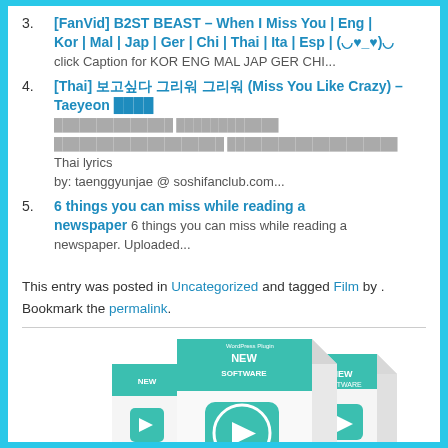[FanVid] B2ST BEAST – When I Miss You | Eng | Kor | Mal | Jap | Ger | Chi | Thai | Ita | Esp | (◡♥_♥)◡ click Caption for KOR ENG MAL JAP GER CHI...
[Thai] 보고싶다 그리워 그리워 (Miss You Like Crazy) – Taeyeon [Thai lyrics] [Thai lyrics] [Thai lyrics] [Thai lyrics] Thai lyrics by: taenggyunjae @ soshifanclub.com...
6 things you can miss while reading a newspaper 6 things you can miss while reading a newspaper. Uploaded...
This entry was posted in Uncategorized and tagged Film by . Bookmark the permalink.
[Figure (photo): Product box image showing '1-Click Video Site Builder' WordPress plugin software boxes with teal/green and white design, play button icons, labeled 'NEW SOFTWARE' and 'WordPress Plugin']